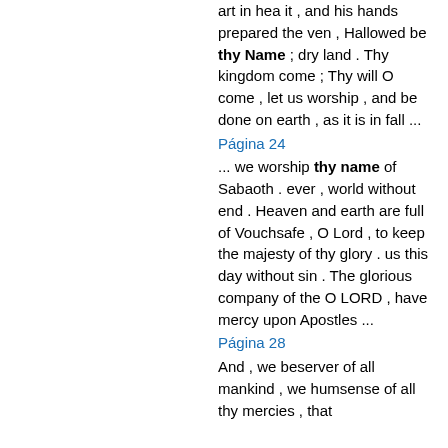art in hea it , and his hands prepared the ven , Hallowed be thy Name ; dry land . Thy kingdom come ; Thy will O come , let us worship , and be done on earth , as it is in fall ...
Página 24
... we worship thy name of Sabaoth . ever , world without end . Heaven and earth are full of Vouchsafe , O Lord , to keep the majesty of thy glory . us this day without sin . The glorious company of the O LORD , have mercy upon Apostles ...
Página 28
And , we beserver of all mankind , we humsense of all thy mercies , that